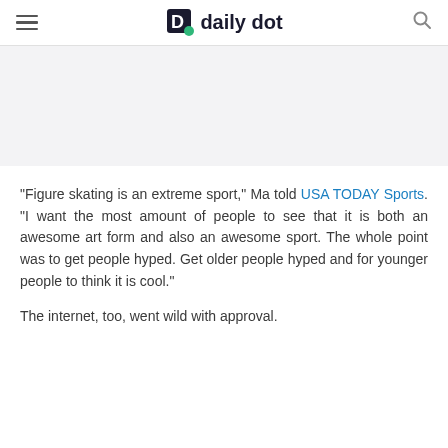daily dot
“Figure skating is an extreme sport,” Ma told USA TODAY Sports. “I want the most amount of people to see that it is both an awesome art form and also an awesome sport. The whole point was to get people hyped. Get older people hyped and for younger people to think it is cool.”
The internet, too, went wild with approval.